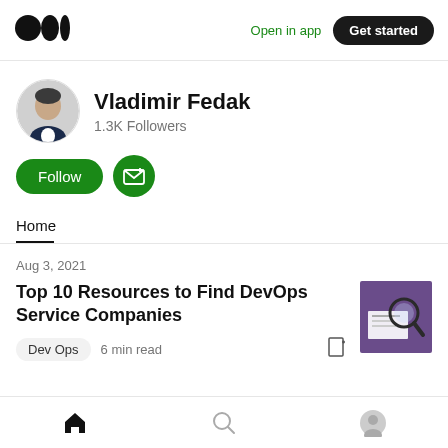Open in app  Get started
[Figure (photo): Medium logo (three stacked circles)]
Vladimir Fedak
1.3K Followers
Follow  [subscribe icon]
Home
Aug 3, 2021
Top 10 Resources to Find DevOps Service Companies
[Figure (photo): Thumbnail image showing a magnifying glass over documents, with purple fabric in background]
Dev Ops  6 min read
Home  Search  Profile